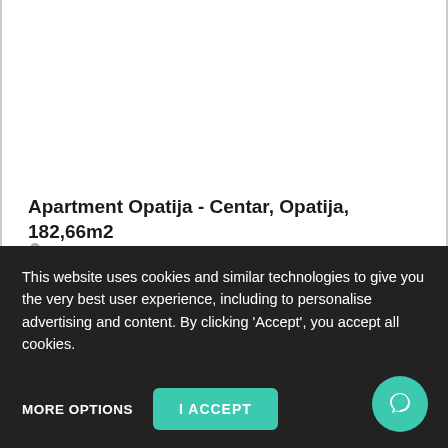Apartment Opatija - Centar, Opatija, 182,66m2
Opatija - Centar - Opatija
950.000€
182,66 m² 4 Rooms 371 ID Code
This website uses cookies and similar technologies to give you the very best user experience, including to personalise advertising and content. By clicking 'Accept', you accept all cookies.
MORE OPTIONS
I ACCEPT